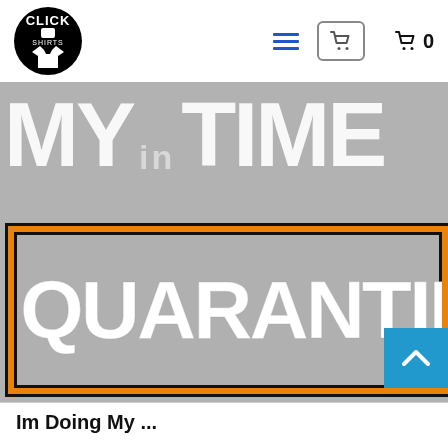Click & Shirts — navigation header with logo, hamburger menu, cart button, cart count 0
[Figure (screenshot): E-commerce t-shirt product page banner showing 'MY TIME IN QUARANTINE' text in large distressed white font on grey background with orange border around QUARANTINE]
Im Doing My ...